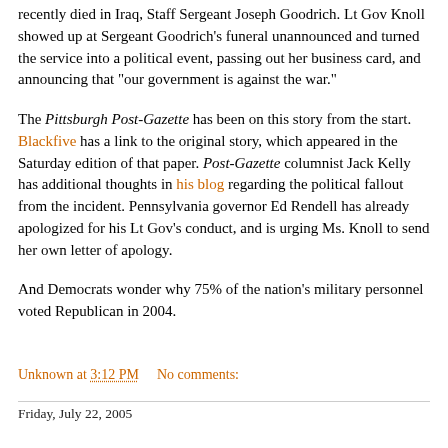recently died in Iraq, Staff Sergeant Joseph Goodrich. Lt Gov Knoll showed up at Sergeant Goodrich's funeral unannounced and turned the service into a political event, passing out her business card, and announcing that "our government is against the war."
The Pittsburgh Post-Gazette has been on this story from the start. Blackfive has a link to the original story, which appeared in the Saturday edition of that paper. Post-Gazette columnist Jack Kelly has additional thoughts in his blog regarding the political fallout from the incident. Pennsylvania governor Ed Rendell has already apologized for his Lt Gov's conduct, and is urging Ms. Knoll to send her own letter of apology.
And Democrats wonder why 75% of the nation's military personnel voted Republican in 2004.
Unknown at 3:12 PM   No comments:
Friday, July 22, 2005